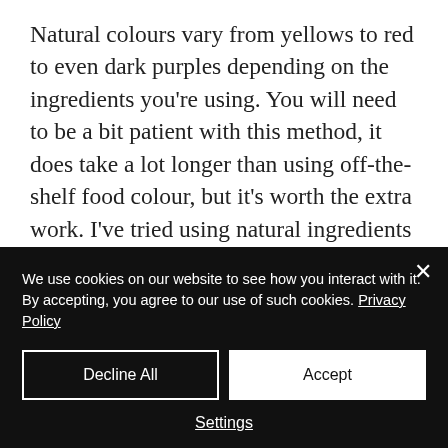Natural colours vary from yellows to red to even dark purples depending on the ingredients you're using. You will need to be a bit patient with this method, it does take a lot longer than using off-the-shelf food colour, but it's worth the extra work. I've tried using natural ingredients to dye eggs and the results were really great. The best part about using natural ingredients is that you'll [continues below]
We use cookies on our website to see how you interact with it. By accepting, you agree to our use of such cookies. Privacy Policy
Decline All
Accept
Settings